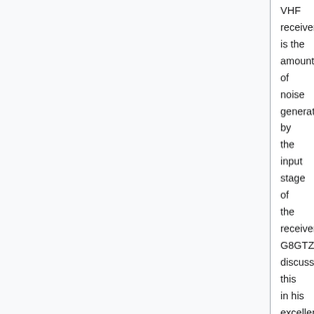VHF receivers is the amount of noise generated by the input stage of the receiver. G8GTZ discussed this in his excellent CAT 21 Video which is essential viewing before trying to use the Portsdown 4 Noise Figure Meter.
The input stage noise can be estimated by making comparisons between the receiver output with no input, and its output when connected a calibrated low-level noise source. This is the method used by the popular HP Noise Figure meters and the method used in the Portsdown. The noise source is permanently connected and switched on and off at about 10 Hz. The noise level at the output if the preamp/transverter is measured during the on and the off periods, averaged, and then the noise contribution of the receiver itself can be